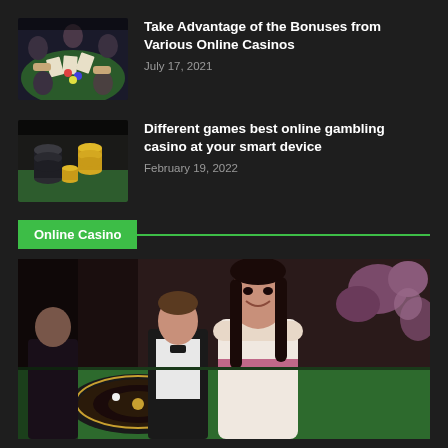[Figure (photo): Overhead view of people playing casino card game at a table]
Take Advantage of the Bonuses from Various Online Casinos
July 17, 2021
[Figure (photo): Stacks of casino chips and gold coins on a green felt table]
Different games best online gambling casino at your smart device
February 19, 2022
Online Casino
[Figure (photo): Smiling woman dealer at a roulette table with male dealer and flowers in background]